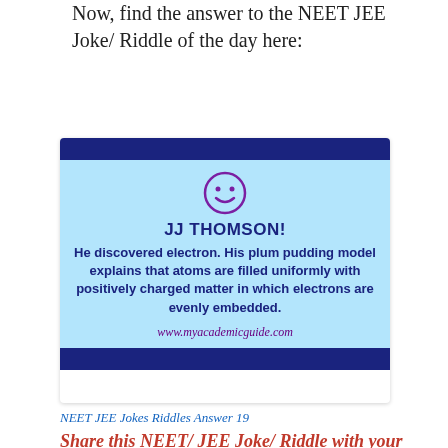Now, find the answer to the NEET JEE Joke/ Riddle of the day here:
[Figure (infographic): Card with dark blue top and bottom bars, light blue body. Contains a purple smiley face icon, bold title 'JJ THOMSON!', descriptive text about JJ Thomson discovering the electron and plum pudding model, and the URL www.myacademicguide.com in italic purple.]
NEET JEE Jokes Riddles Answer 19
Share this NEET/ JEE Joke/ Riddle with your